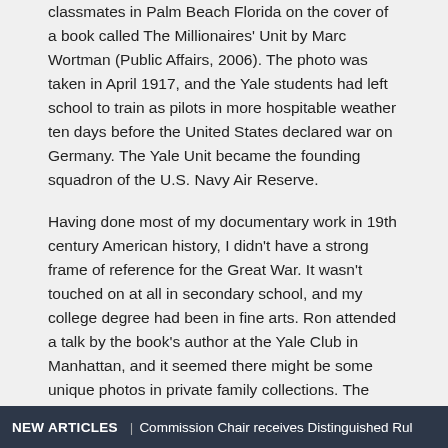classmates in Palm Beach Florida on the cover of a book called The Millionaires' Unit by Marc Wortman (Public Affairs, 2006). The photo was taken in April 1917, and the Yale students had left school to train as pilots in more hospitable weather ten days before the United States declared war on Germany. The Yale Unit became the founding squadron of the U.S. Navy Air Reserve.
Having done most of my documentary work in 19th century American history, I didn't have a strong frame of reference for the Great War. It wasn't touched on at all in secondary school, and my college degree had been in fine arts. Ron attended a talk by the book's author at the Yale Club in Manhattan, and it seemed there might be some unique photos in private family collections. The story was a good one: young, dynamic personalities tackling a new and dangerous technology, running off to
NEW ARTICLES | Commission Chair receives Distinguished Rul